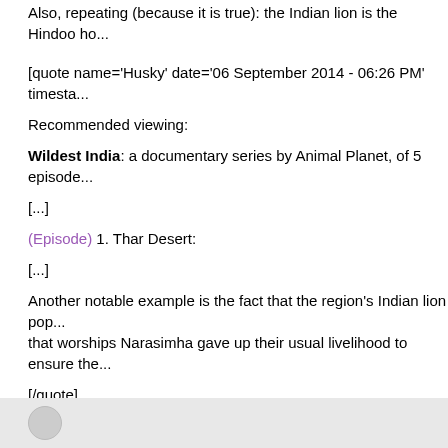Also, repeating (because it is true): the Indian lion is the Hindoo ho...
[quote name='Husky' date='06 September 2014 - 06:26 PM' timesta...
Recommended viewing:
Wildest India: a documentary series by Animal Planet, of 5 episode...
[...]
(Episode) 1. Thar Desert:
[...]
Another notable example is the fact that the region's Indian lion pop... that worships Narasimha gave up their usual livelihood to ensure the...
[/quote]
Hindoo lion hates christoislamania, who are its enemies. Like Hindo... central.
Reply